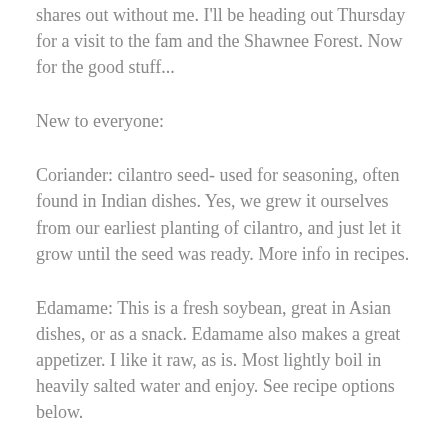shares out without me. I'll be heading out Thursday for a visit to the fam and the Shawnee Forest. Now for the good stuff...
New to everyone:
Coriander: cilantro seed- used for seasoning, often found in Indian dishes. Yes, we grew it ourselves from our earliest planting of cilantro, and just let it grow until the seed was ready. More info in recipes.
Edamame: This is a fresh soybean, great in Asian dishes, or as a snack. Edamame also makes a great appetizer. I like it raw, as is. Most lightly boil in heavily salted water and enjoy. See recipe options below.
Collard greens: are tasty. Some leaves are giant. We suggest treating them as a cooking green, or using them